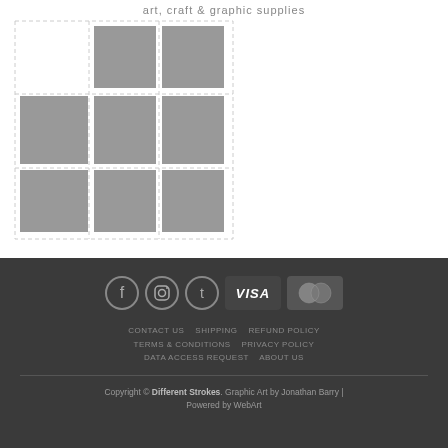art, craft & graphic supplies
[Figure (other): 3x3 grid of gray image placeholder boxes with dashed border]
[Figure (other): Social media icons: Facebook, Instagram, Twitter circles; Visa and Mastercard payment card logos]
CONTACT US  SHIPPING  REFUND POLICY  TERMS & CONDITIONS  PRIVACY POLICY  DATA ACCESS REQUEST  ABOUT US
Copyright © Different Strokes. Graphic Art by Jonathan Barry | Powered by WebArt